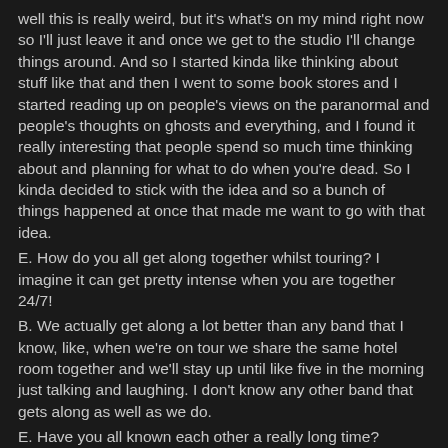well this is really weird, but it's what's on my mind right now so I'll just leave it and once we get to the studio I'll change things around. And so I started kinda like thinking about stuff like that and then I went to some book stores and I started reading up on people's views on the paranormal and people's thoughts on ghosts and everything, and I found it really interesting that people spend so much time thinking about and planning for what to do when you're dead. So I kinda decided to stick with the idea and so a bunch of things happened at once that made me want to go with that idea.
E. How do you all get along together whilst touring? I imagine it can get pretty intense when you are together 24/7!
B. We actually get along a lot better than any band that I know, like, when we're on tour we share the same hotel room together and we'll stay up until like five in the morning just talking and laughing. I don't know any other band that gets along as well as we do.
E. Have you all known each other a really long time?
B. Yeah, we've known each other since we were all like